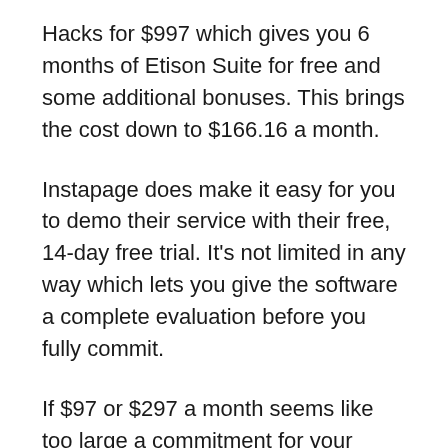Hacks for $997 which gives you 6 months of Etison Suite for free and some additional bonuses. This brings the cost down to $166.16 a month.
Instapage does make it easy for you to demo their service with their free, 14-day free trial. It's not limited in any way which lets you give the software a complete evaluation before you fully commit.
If $97 or $297 a month seems like too large a commitment for your current budget, there is also a semi-secret, unadvertised Share Funnel plan which you can also have access to for just $19 a month. You can only create 3 funnels and 10 pages with this plan, but it is a great way to try out Instapage on a budget.